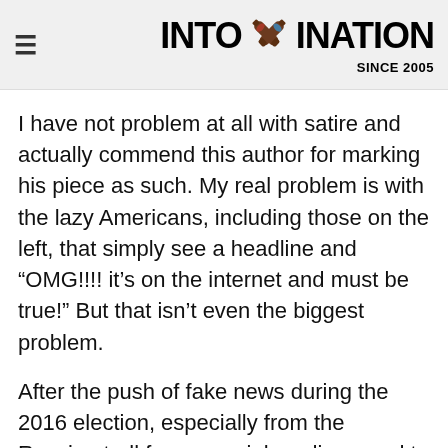INTOXINATION SINCE 2005
I have not problem at all with satire and actually commend this author for marking his piece as such. My real problem is with the lazy Americans, including those on the left, that simply see a headline and “OMG!!!! it’s on the internet and must be true!” But that isn’t even the biggest problem.
After the push of fake news during the 2016 election, especially from the Russian troll farms, social media vowed to take a harsh approach to squashing items. Sadly this isn’t happening. This is appearing as a regular